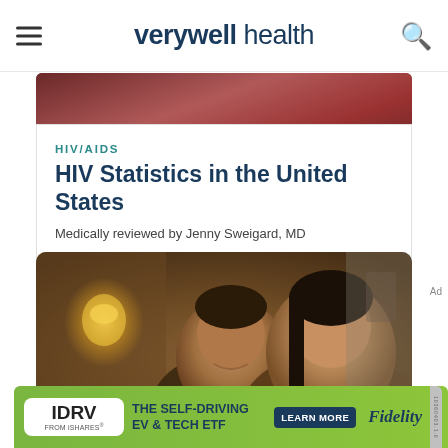verywell health
[Figure (photo): Partial top of a photo showing a person in a red/maroon top]
HIV/AIDS
HIV Statistics in the United States
Medically reviewed by Jenny Sweigard, MD
[Figure (photo): Two people smiling, a man and a woman, in a warmly lit indoor setting]
[Figure (infographic): Advertisement for IDRV from iShares - The Self-Driving EV & Tech ETF, Learn More, Fidelity]